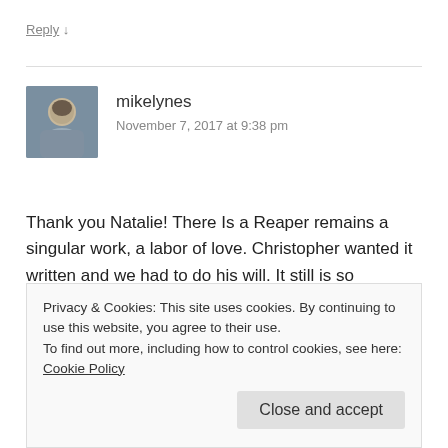Reply ↓
[Figure (photo): Avatar photo of mikelynes, a man with gray hair wearing a blue shirt]
mikelynes
November 7, 2017 at 9:38 pm
Thank you Natalie! There Is a Reaper remains a singular work, a labor of love. Christopher wanted it written and we had to do his will. It still is so gratifying to see how people have been touched by his story, thank you for your very kind words.
Privacy & Cookies: This site uses cookies. By continuing to use this website, you agree to their use.
To find out more, including how to control cookies, see here: Cookie Policy
Close and accept